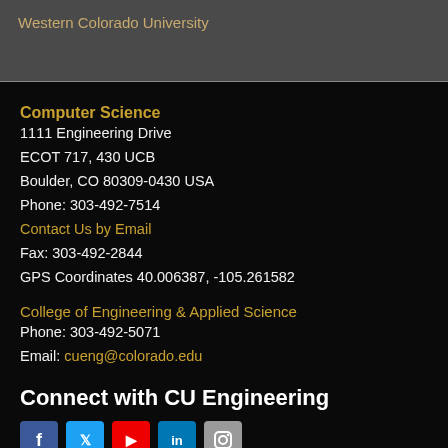Western Colorado University
Computer Science
1111 Engineering Drive
ECOT 717, 430 UCB
Boulder, CO 80309-0430 USA
Phone: 303-492-7514
Contact Us by Email
Fax: 303-492-2844
GPS Coordinates 40.006387, -105.261582
College of Engineering & Applied Science
Phone: 303-492-5071
Email: cueng@colorado.edu
Connect with CU Engineering
[Figure (other): Social media icons: Facebook, Twitter, YouTube, LinkedIn, Instagram]